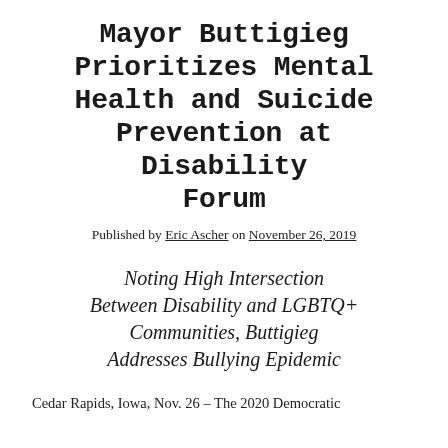Mayor Buttigieg Prioritizes Mental Health and Suicide Prevention at Disability Forum
Published by Eric Ascher on November 26, 2019
Noting High Intersection Between Disability and LGBTQ+ Communities, Buttigieg Addresses Bullying Epidemic
Cedar Rapids, Iowa, Nov. 26 – The 2020 Democratic